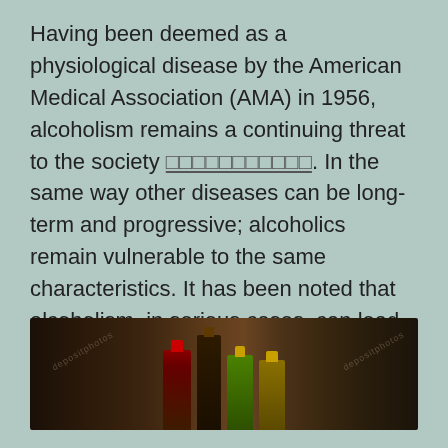Having been deemed as a physiological disease by the American Medical Association (AMA) in 1956, alcoholism remains a continuing threat to the society [citation]. In the same way other diseases can be long-term and progressive; alcoholics remain vulnerable to the same characteristics. It has been noted that alcoholism, in serious cases, can lead to death.
[Figure (photo): Photo of several alcohol bottles (liquor bottles) arranged on a dark wooden surface, showing tops and caps in red, dark brown, green, and gold colors. Watermark text visible on image.]